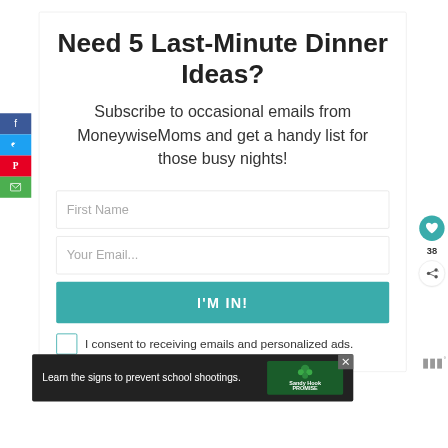Need 5 Last-Minute Dinner Ideas?
Subscribe to occasional emails from MoneywiseMoms and get a handy list for those busy nights!
[Figure (screenshot): Email subscription form with First Name field, Your Email field, I'M IN! button, and consent checkbox]
[Figure (infographic): Bottom advertisement banner: Learn the signs to prevent school shootings. Sandy Hook Promise logo.]